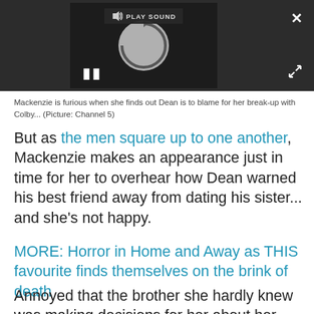[Figure (screenshot): Video player with dark background showing a loading spinner, play sound button at top, pause button at bottom left, close button at top right, and expand button at bottom right.]
Mackenzie is furious when she finds out Dean is to blame for her break-up with Colby... (Picture: Channel 5)
But as the men square up to one another, Mackenzie makes an appearance just in time for her to overhear how Dean warned his best friend away from dating his sister... and she's not happy.
MORE: Horror in Home and Away as THIS favourite finds themselves on the brink of death
Annoyed that the brother she hardly knew was making decisions for her about her love life,